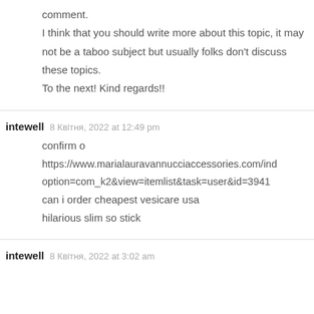comment.
I think that you should write more about this topic, it may not be a taboo subject but usually folks don't discuss these topics.
To the next! Kind regards!!
intewell  8 Квітня, 2022 at 12:49 pm
confirm o
https://www.marialauravannucciaccessories.com/index.php?
option=com_k2&view=itemlist&task=user&id=3941
can i order cheapest vesicare usa
hilarious slim so stick
intewell  8 Квітня, 2022 at 3:02 am